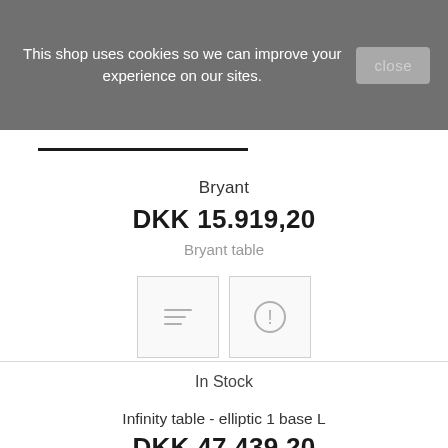[Figure (screenshot): Cookie consent banner with dark semi-transparent overlay showing text and close button]
Bryant
DKK 15.919,20
Bryant table
[Figure (other): Two icon buttons: a list/description icon and an info/exclamation icon]
In Stock
Infinity table - elliptic 1 base L
DKK 47.439,20